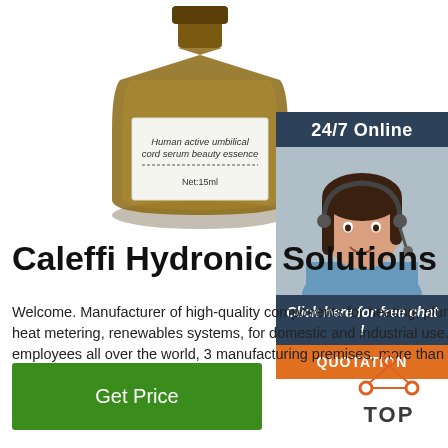[Figure (photo): Amber glass bottle labeled 'Human active umbilical cord serum beauty essence, Net:15ml']
[Figure (infographic): 24/7 Online chat panel with agent photo, 'Click here for free chat!' text and QUOTATION button]
Caleffi Hydronic Solutions
Welcome. Manufacturer of high-quality components for heating, plumbing, air conditioning, heat metering, renewables systems, for domestic and industrial use. More than 1.300 employees all over the world, 3 manufacturing premises, more than 90 markets …
[Figure (illustration): Green 'Get Price' button]
[Figure (illustration): TOP icon with orange dots]